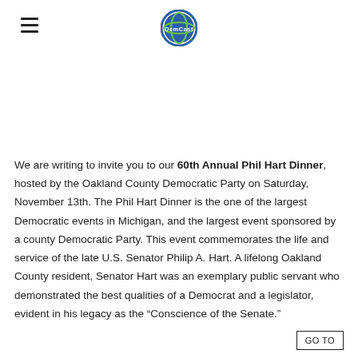DemCast logo and navigation header
We are writing to invite you to our 60th Annual Phil Hart Dinner, hosted by the Oakland County Democratic Party on Saturday, November 13th. The Phil Hart Dinner is the one of the largest Democratic events in Michigan, and the largest event sponsored by a county Democratic Party. This event commemorates the life and service of the late U.S. Senator Philip A. Hart. A lifelong Oakland County resident, Senator Hart was an exemplary public servant who demonstrated the best qualities of a Democrat and a legislator, evident in his legacy as the “Conscience of the Senate.”
GO TO